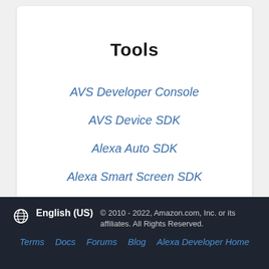Tools
AVS Developer Console
AVS Device SDK
Alexa Auto SDK
Alexa Smart Screen SDK
English (US) © 2010 - 2022, Amazon.com, Inc. or its affiliates. All Rights Reserved. Terms Docs Forums Blog Alexa Developer Home